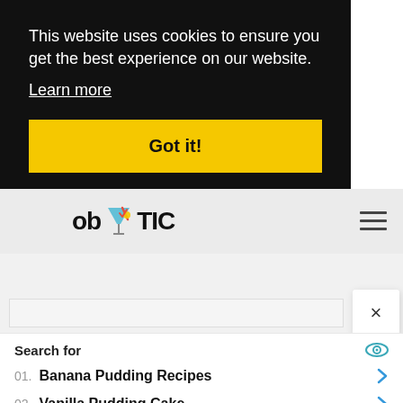This website uses cookies to ensure you get the best experience on our website.
Learn more
Got it!
[Figure (logo): ob TIC logo with cocktail glass icon]
Search for
01. Banana Pudding Recipes
02. Vanilla Pudding Cake
Yahoo! Search | Sponsored